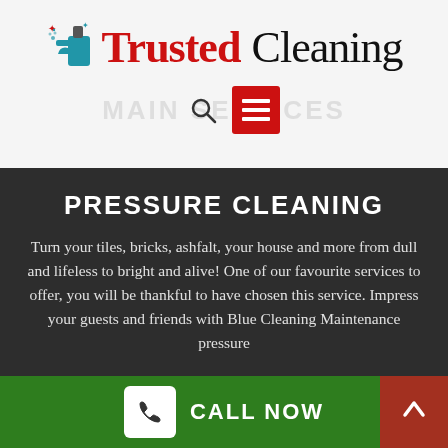[Figure (logo): Trusted Cleaning logo with spray bottle icon. 'Trusted' in red serif font, 'Cleaning' in black serif font.]
[Figure (screenshot): Navigation bar with search icon and red hamburger menu button, with faint 'MAIN SERVICES' text behind.]
PRESSURE CLEANING
Turn your tiles, bricks, ashfalt, your house and more from dull and lifeless to bright and alive! One of our favourite services to offer, you will be thankful to have chosen this service. Impress your guests and friends with Blue Cleaning Maintenance pressure
[Figure (infographic): Green footer bar with white phone icon button and CALL NOW text, plus red back-to-top arrow button on the right.]